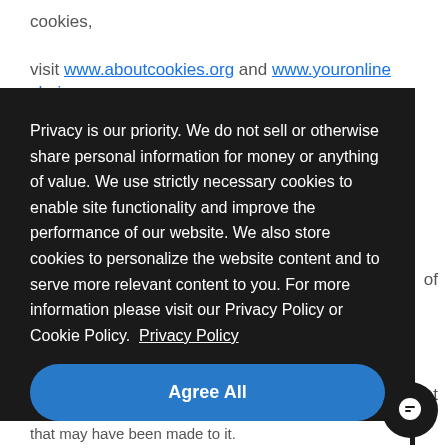cookies,
visit www.aboutcookies.org and www.youronlinechoices.com.
Privacy is our priority. We do not sell or otherwise share personal information for money or anything of value. We use strictly necessary cookies to enable site functionality and improve the performance of our website. We also store cookies to personalize the website content and to serve more relevant content to you. For more information please visit our Privacy Policy or Cookie Policy.  Privacy Policy
Agree All
of
ent
that may have been made to it.